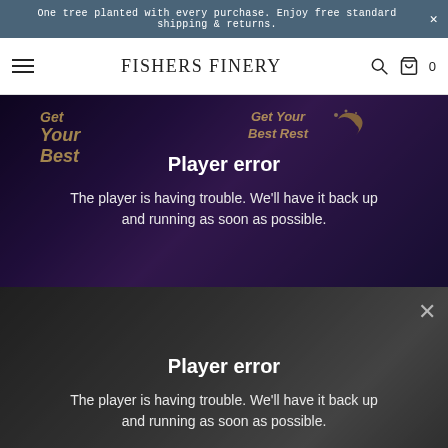One tree planted with every purchase. Enjoy free standard shipping & returns.
FISHERS FINERY
[Figure (screenshot): Video player showing 'Get Your Best Rest' promotional content with a purple background, displaying a Player error message: 'The player is having trouble. We'll have it back up and running as soon as possible.']
[Figure (screenshot): Second video player showing a person holding a pillow in a room setting, displaying a Player error message: 'The player is having trouble. We'll have it back up and running as soon as possible.' with a close (X) button.]